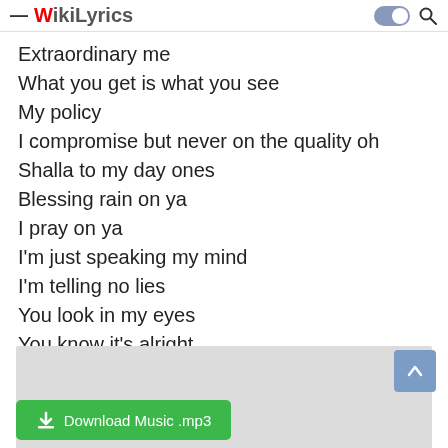WikiLyrics
Extraordinary me
What you get is what you see
My policy
I compromise but never on the quality oh
Shalla to my day ones
Blessing rain on ya
I pray on ya
I'm just speaking my mind
I'm telling no lies
You look in my eyes
You know it's alright
[Figure (other): Gray advertisement/banner placeholder box]
[Figure (other): Scroll to top button with upward arrow, blue background]
Download Music .mp3